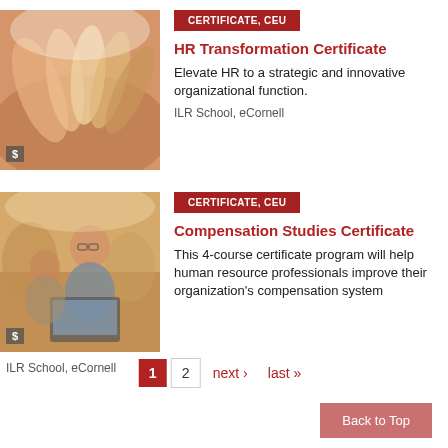[Figure (photo): Hands raised together in a group high-five gesture, warm lighting]
CERTIFICATE, CEU
HR Transformation Certificate
Elevate HR to a strategic and innovative organizational function.
ILR School, eCornell
[Figure (photo): Students studying together around a laptop, classroom setting]
CERTIFICATE, CEU
Compensation Studies Certificate
This 4-course certificate program will help human resource professionals improve their organization's compensation system
ILR School, eCornell
1 2 next › last »
Back to Top